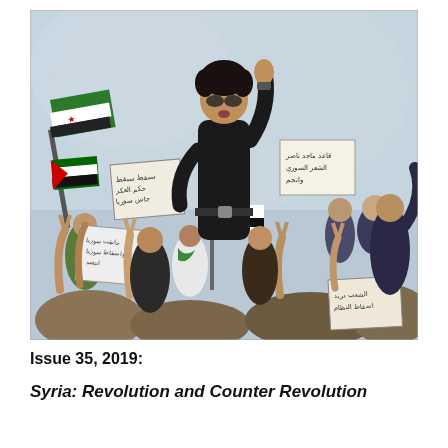[Figure (illustration): A painting depicting a Syrian protest/revolution scene. A young man with curly hair stands elevated above a crowd, wearing a black turtleneck, raising one fist. Crowd holds protest signs in Arabic and Syrian revolutionary flags (green-white-black with three red stars). People make victory signs with their hands. Signs in Arabic text are visible throughout.]
Issue 35, 2019:
Syria: Revolution and Counter Revolution